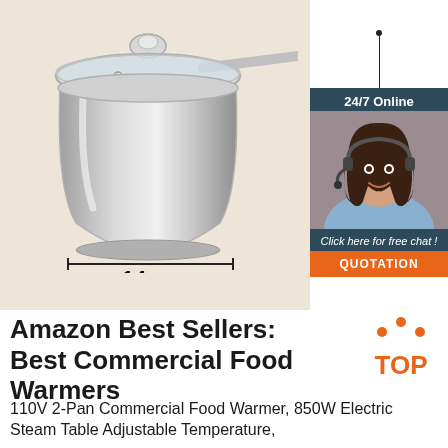[Figure (photo): Stainless steel saucepan with glass lid and long handle, shown with a 14cm measurement line below it, on a beige background. A chat widget in the top-right corner shows '24/7 Online', a woman with a headset, 'Click here for free chat!' and an orange 'QUOTATION' button.]
Amazon Best Sellers: Best Commercial Food Warmers
110V 2-Pan Commercial Food Warmer, 850W Electric Steam Table Adjustable Temperature,